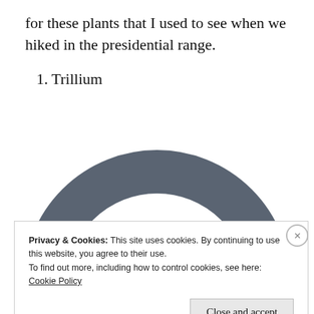for these plants that I used to see when we hiked in the presidential range.
1. Trillium
[Figure (logo): A large gray power/info icon (circle arc with vertical bar) centered on white background]
Privacy & Cookies: This site uses cookies. By continuing to use this website, you agree to their use.
To find out more, including how to control cookies, see here:
Cookie Policy
Close and accept